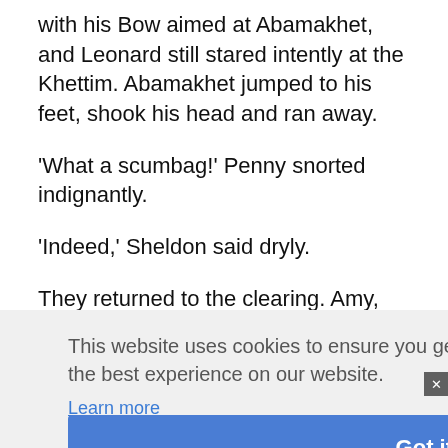with his Bow aimed at Abamakhet, and Leonard still stared intently at the Khettim. Abamakhet jumped to his feet, shook his head and ran away.
'What a scumbag!' Penny snorted indignantly.
'Indeed,' Sheldon said dryly.
They returned to the clearing. Amy, Bernadette, Raj and Zorabel looked expectantly at them.
This website uses cookies to ensure you get the best experience on our website. Learn more
Got it!
[Figure (infographic): Advertisement banner for Giving Tree Housing with logo, text about providing quality housing solutions, and a photo of hands.]